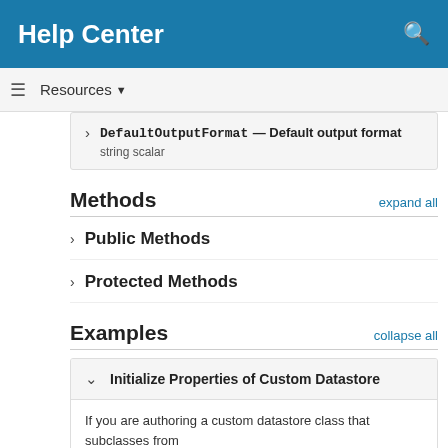Help Center
Resources ▼
DefaultOutputFormat — Default output format
string scalar
Methods
> Public Methods
> Protected Methods
Examples
Initialize Properties of Custom Datastore
If you are authoring a custom datastore class that subclasses from
matlab.io.datastore.FileWritable to add file